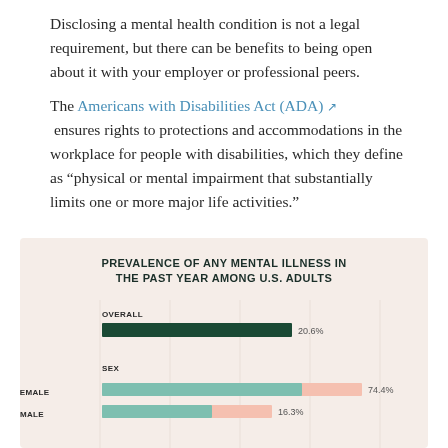Disclosing a mental health condition is not a legal requirement, but there can be benefits to being open about it with your employer or professional peers.
The Americans with Disabilities Act (ADA) ensures rights to protections and accommodations in the workplace for people with disabilities, which they define as "physical or mental impairment that substantially limits one or more major life activities."
[Figure (bar-chart): PREVALENCE OF ANY MENTAL ILLNESS IN THE PAST YEAR AMONG U.S. ADULTS]